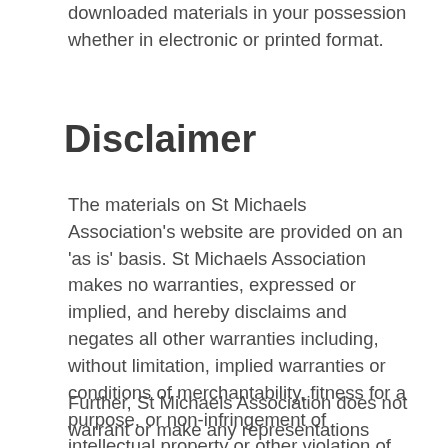downloaded materials in your possession whether in electronic or printed format.
Disclaimer
The materials on St Michaels Association's website are provided on an 'as is' basis. St Michaels Association makes no warranties, expressed or implied, and hereby disclaims and negates all other warranties including, without limitation, implied warranties or conditions of merchantability, fitness for a purpose, or non-infringement of intellectual property or other violation of rights.
Further, St Michaels Association does not warrant or make any representations